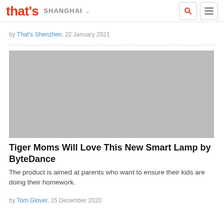that's SHANGHAI
by That's Shenzhen, 22 January 2021
[Figure (photo): Gray placeholder image for article about Tiger Moms smart lamp by ByteDance]
Tiger Moms Will Love This New Smart Lamp by ByteDance
The product is aimed at parents who want to ensure their kids are doing their homework.
by Tom Glover, 15 December 2020